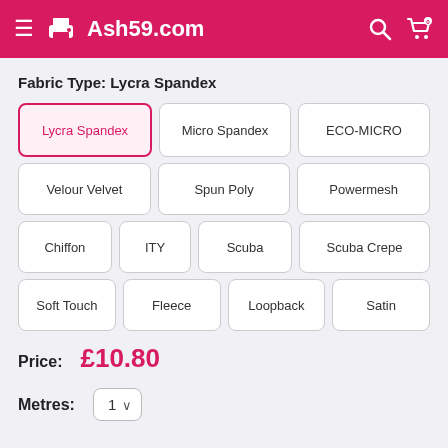Ash59.com
Fabric Type: Lycra Spandex
Lycra Spandex (selected)
Micro Spandex
ECO-MICRO
Velour Velvet
Spun Poly
Powermesh
Chiffon
ITY
Scuba
Scuba Crepe
Soft Touch
Fleece
Loopback
Satin
Price: £10.80
Metres: 1